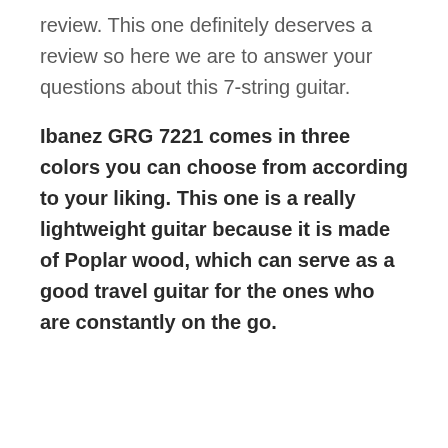review. This one definitely deserves a review so here we are to answer your questions about this 7-string guitar.
Ibanez GRG 7221 comes in three colors you can choose from according to your liking. This one is a really lightweight guitar because it is made of Poplar wood, which can serve as a good travel guitar for the ones who are constantly on the go.